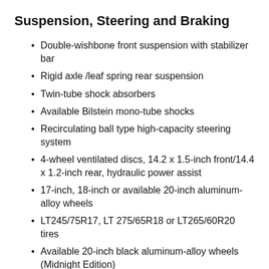Suspension, Steering and Braking
Double-wishbone front suspension with stabilizer bar
Rigid axle /leaf spring rear suspension
Twin-tube shock absorbers
Available Bilstein mono-tube shocks
Recirculating ball type high-capacity steering system
4-wheel ventilated discs, 14.2 x 1.5-inch front/14.4 x 1.2-inch rear, hydraulic power assist
17-inch, 18-inch or available 20-inch aluminum-alloy wheels
LT245/75R17, LT 275/65R18 or LT265/60R20 tires
Available 20-inch black aluminum-alloy wheels (Midnight Edition)